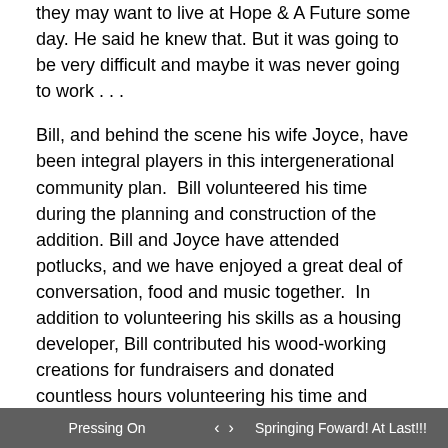they may want to live at Hope & A Future some day. He said he knew that. But it was going to be very difficult and maybe it was never going to work . . .
Bill, and behind the scene his wife Joyce, have been integral players in this intergenerational community plan.  Bill volunteered his time during the planning and construction of the addition. Bill and Joyce have attended potlucks, and we have enjoyed a great deal of conversation, food and music together.  In addition to volunteering his skills as a housing developer, Bill contributed his wood-working creations for fundraisers and donated countless hours volunteering his time and talent to lead volunteer groups as we finished our new addition.   With his vast experience as a nonprofit developer, and his inherent belief in the benefits of bringing the generations together, Bill and Joyce, have
Pressing On  ‹  ›  Springing Foward! At Last!!!